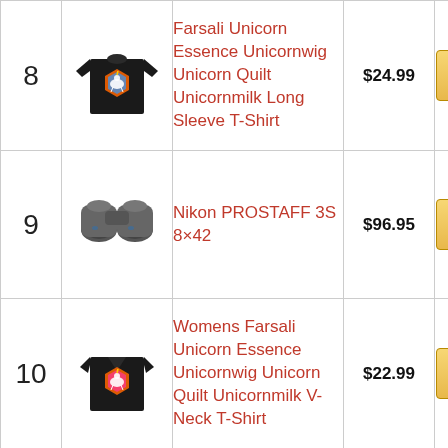| # | Image | Product Name | Price | Buy |
| --- | --- | --- | --- | --- |
| 8 | [long sleeve shirt image] | Farsali Unicorn Essence Unicornwig Unicorn Quilt Unicornmilk Long Sleeve T-Shirt | $24.99 | Buy on Amazon |
| 9 | [binoculars image] | Nikon PROSTAFF 3S 8×42 | $96.95 | Buy on Amazon |
| 10 | [v-neck shirt image] | Womens Farsali Unicorn Essence Unicornwig Unicorn Quilt Unicornmilk V-Neck T-Shirt | $22.99 | Buy on Amazon |